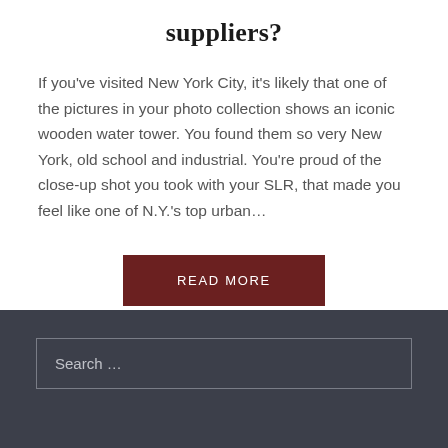suppliers?
If you've visited New York City, it's likely that one of the pictures in your photo collection shows an iconic wooden water tower. You found them so very New York, old school and industrial. You're proud of the close-up shot you took with your SLR, that made you feel like one of N.Y.'s top urban…
READ MORE